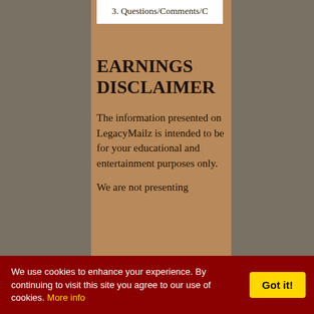3. Questions/Comments/C
EARNINGS DISCLAIMER
The information presented on LegacyMailz is intended to be for your educational and entertainment purposes only.
We are not presenting
We use cookies to enhance your experience. By continuing to visit this site you agree to our use of cookies. More info